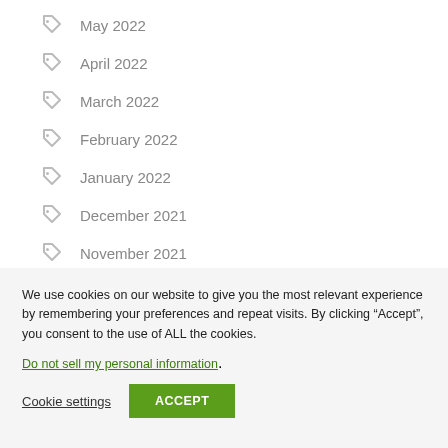May 2022
April 2022
March 2022
February 2022
January 2022
December 2021
November 2021
We use cookies on our website to give you the most relevant experience by remembering your preferences and repeat visits. By clicking “Accept”, you consent to the use of ALL the cookies.
Do not sell my personal information.
Cookie settings   ACCEPT